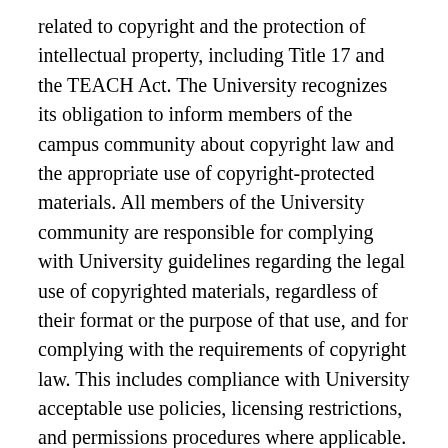related to copyright and the protection of intellectual property, including Title 17 and the TEACH Act. The University recognizes its obligation to inform members of the campus community about copyright law and the appropriate use of copyright-protected materials. All members of the University community are responsible for complying with University guidelines regarding the legal use of copyrighted materials, regardless of their format or the purpose of that use, and for complying with the requirements of copyright law. This includes compliance with University acceptable use policies, licensing restrictions, and permissions procedures where applicable. Faculty, staff, and students shall not exercise any rights under copyright law in a work owned by others unless those stipulations fall within the parameters allowed by Title 17 and the TEACH Act. In addition, members of the Tiffin University